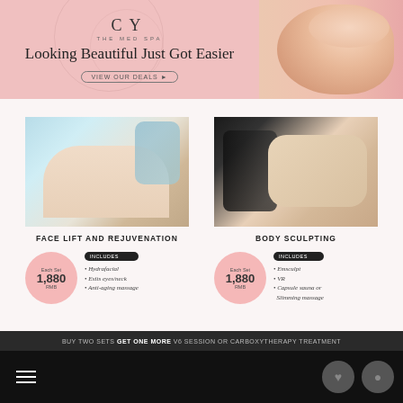[Figure (screenshot): Med spa website banner with pink background, logo 'CY THE MED SPA', tagline 'Looking Beautiful Just Got Easier', button 'VIEW OUR DEALS ►', and model image on the right]
[Figure (photo): Face lift and rejuvenation treatment photo showing client receiving facial treatment]
FACE LIFT AND REJUVENATION
Each Set 1,880 RMB - INCLUDES: • Hydrafacial • Exits eyes/neck • Anti-aging massage
[Figure (photo): Body sculpting treatment photo showing device applied to body]
BODY SCULPTING
Each Set 1,880 RMB - INCLUDES: • Emsculpt • VR • Capsule sauna or Slimming massage
BUY TWO SETS GET ONE MORE V6 SESSION OR CARBOXYTHERAPY TREATMENT
[Figure (screenshot): Website navigation bar with hamburger menu on black background, heart and profile icons on right]
Search Places & Services, Events, Articles ...
HELP
ADVERTISEMENT